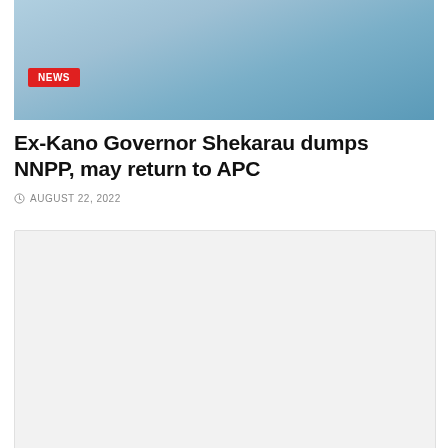[Figure (photo): Hero image of a person wearing a face mask, with a red NEWS badge overlay in the lower left of the image]
Ex-Kano Governor Shekarau dumps NNPP, may return to APC
AUGUST 22, 2022
[Figure (other): Gray advertisement placeholder box]